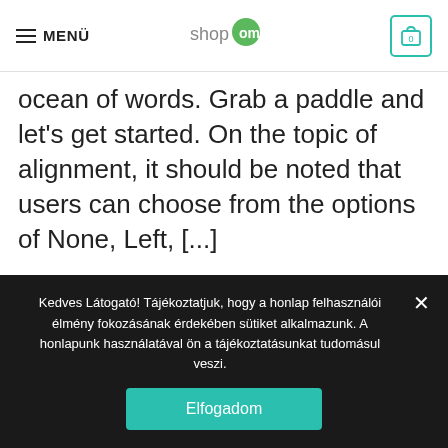MENÜ — shopom — cart icon (0)
ocean of words. Grab a paddle and let's get started. On the topic of alignment, it should be noted that users can choose from the options of None, Left, [...]
[Figure (illustration): Watermark-style person icon in gray section below divider]
Kedves Látogató! Tájékoztatjuk, hogy a honlap felhasználói élmény fokozásának érdekében sütiket alkalmazunk. A honlapunk használatával ön a tájékoztatásunkat tudomásul veszi.
Elfogadom